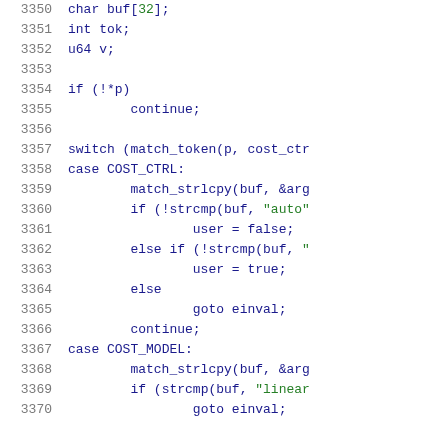Source code listing, lines 3350-3370
3350    char buf[32];
3351    int tok;
3352    u64 v;
3353
3354    if (!*p)
3355            continue;
3356
3357    switch (match_token(p, cost_ctr
3358    case COST_CTRL:
3359            match_strlcpy(buf, &arg
3360            if (!strcmp(buf, "auto"
3361                    user = false;
3362            else if (!strcmp(buf, "
3363                    user = true;
3364            else
3365                    goto einval;
3366            continue;
3367    case COST_MODEL:
3368            match_strlcpy(buf, &arg
3369            if (strcmp(buf, "linear
3370                    goto einval;